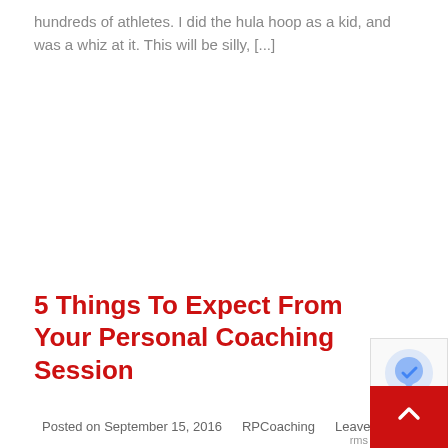hundreds of athletes.  I did the hula hoop as a kid, and was a whiz at it.  This will be silly, [...]
5 Things To Expect From Your Personal Coaching Session
Posted on September 15, 2016   RPCoaching   Leave a